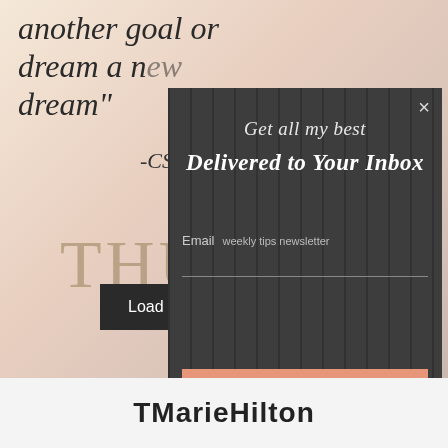[Figure (screenshot): Background image of a blog page showing a partial quote in italic script font reading 'another goal or dream a n... dream"' with attribution '-CS', and partial large text 'THU...' below, in warm pinkish-beige tones. A 'Load More...' dark button is visible at the bottom of the image area.]
[Figure (screenshot): Modal popup dialog with dark gray vertical-striped background. Contains close button X, italic script heading 'Get all my best', bold italic heading 'Delivered to Your Inbox', email input field with label 'Email' and 'weekly tips newsletter', a horizontal line input separator, and a salmon/peach colored 'Sign Up Now!' button.]
TMarieHilton